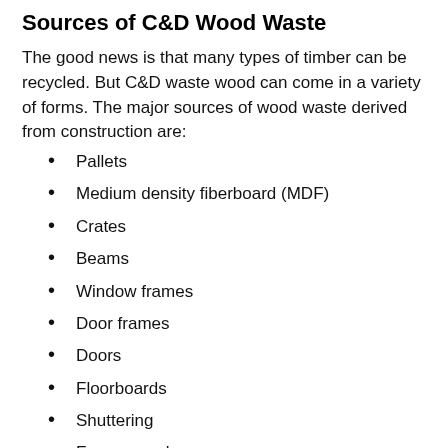Sources of C&D Wood Waste
The good news is that many types of timber can be recycled. But C&D waste wood can come in a variety of forms. The major sources of wood waste derived from construction are:
Pallets
Medium density fiberboard (MDF)
Crates
Beams
Window frames
Door frames
Doors
Floorboards
Shuttering
Fence panels